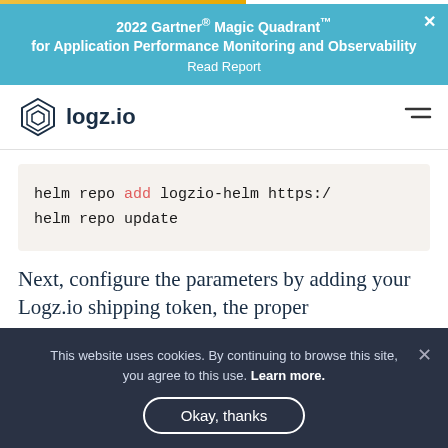2022 Gartner® Magic Quadrant™ for Application Performance Monitoring and Observability
Read Report
[Figure (logo): logz.io company logo with hexagonal icon and text]
Next, configure the parameters by adding your Logz.io shipping token, the proper
This website uses cookies. By continuing to browse this site, you agree to this use. Learn more.
Okay, thanks